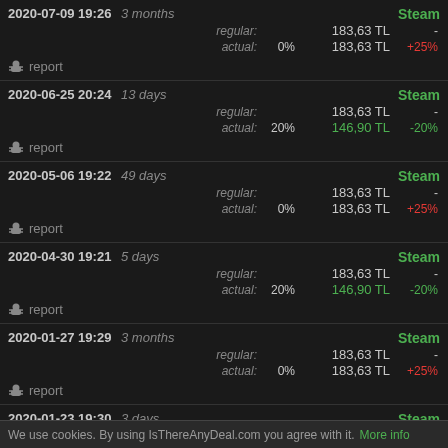2020-07-09 19:26 3 months — Steam — regular: 183,63 TL - / actual: 0% 183,63 TL +25%
report
2020-06-25 20:24 13 days — Steam — regular: 183,63 TL - / actual: 20% 146,90 TL -20%
report
2020-05-06 19:22 49 days — Steam — regular: 183,63 TL - / actual: 0% 183,63 TL +25%
report
2020-04-30 19:21 5 days — Steam — regular: 183,63 TL - / actual: 20% 146,90 TL -20%
report
2020-01-27 19:29 3 months — Steam — regular: 183,63 TL - / actual: 0% 183,63 TL +25%
report
2020-01-23 19:30 3 days — Steam — regular: 183,63 TL - / actual: 20% 146,90 TL -20%
We use cookies. By using IsThereAnyDeal.com you agree with it. More info